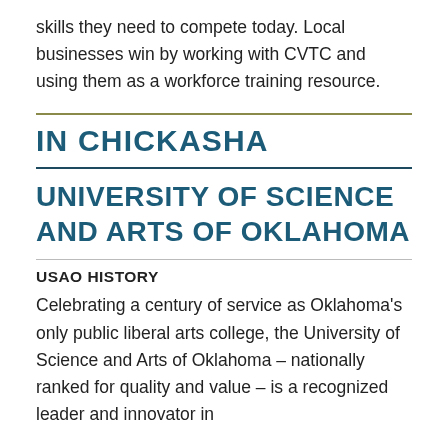skills they need to compete today. Local businesses win by working with CVTC and using them as a workforce training resource.
IN CHICKASHA
UNIVERSITY OF SCIENCE AND ARTS OF OKLAHOMA
USAO HISTORY
Celebrating a century of service as Oklahoma's only public liberal arts college, the University of Science and Arts of Oklahoma – nationally ranked for quality and value – is a recognized leader and innovator in